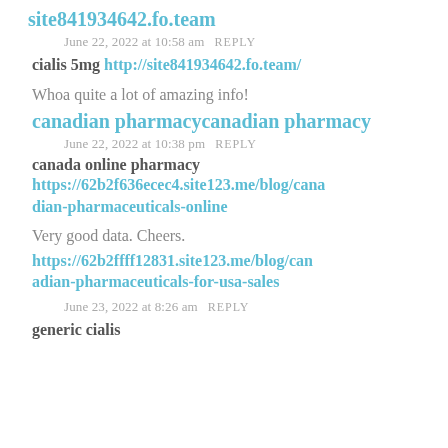site841934642.fo.team
June 22, 2022 at 10:58 am   REPLY
cialis 5mg http://site841934642.fo.team/
Whoa quite a lot of amazing info!
canadian pharmacycanadian pharmacy
June 22, 2022 at 10:38 pm   REPLY
canada online pharmacy
https://62b2f636ecec4.site123.me/blog/canadian-pharmaceuticals-online
Very good data. Cheers.
https://62b2ffff12831.site123.me/blog/canadian-pharmaceuticals-for-usa-sales
June 23, 2022 at 8:26 am   REPLY
generic cialis